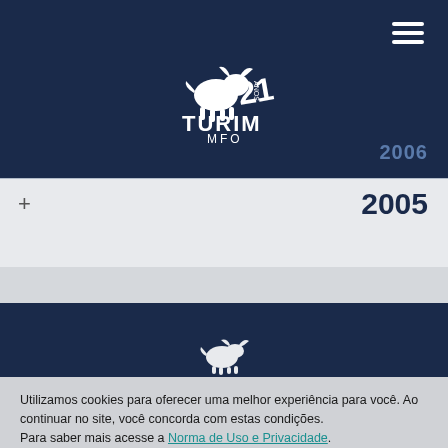[Figure (logo): Turim 21 MFO logo with bull graphic on dark navy header]
2006
+ 2005
[Figure (logo): Small Turim bull logo in footer dark navy bar]
Utilizamos cookies para oferecer uma melhor experiência para você. Ao continuar no site, você concorda com estas condições.
Para saber mais acesse a Norma de Uso e Privacidade.
Aceito